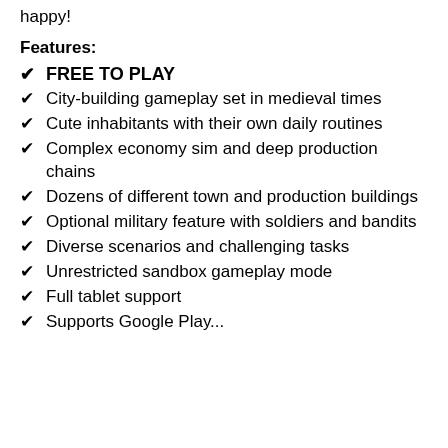happy!
Features:
✔ FREE TO PLAY
✔ City-building gameplay set in medieval times
✔ Cute inhabitants with their own daily routines
✔ Complex economy sim and deep production chains
✔ Dozens of different town and production buildings
✔ Optional military feature with soldiers and bandits
✔ Diverse scenarios and challenging tasks
✔ Unrestricted sandbox gameplay mode
✔ Full tablet support
✔ Supports Google Play...